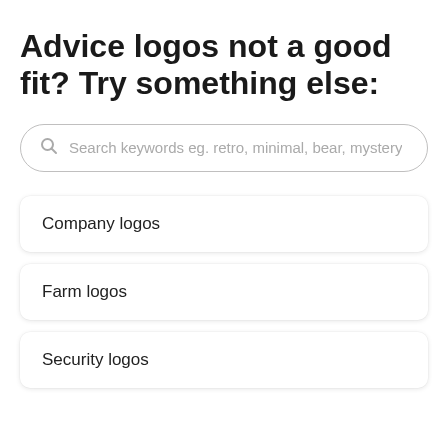Advice logos not a good fit? Try something else:
[Figure (other): Search bar with placeholder text: Search keywords eg. retro, minimal, bear, mystery]
Company logos
Farm logos
Security logos